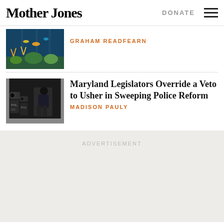Mother Jones | DONATE
[Figure (photo): Underwater coral reef scene with colorful fish and corals]
GRAHAM READFEARN
[Figure (photo): Police officers in riot gear, one bending down, police cameras in foreground]
Maryland Legislators Override a Veto to Usher in Sweeping Police Reform
MADISON PAULY
ADVERTISEMENT